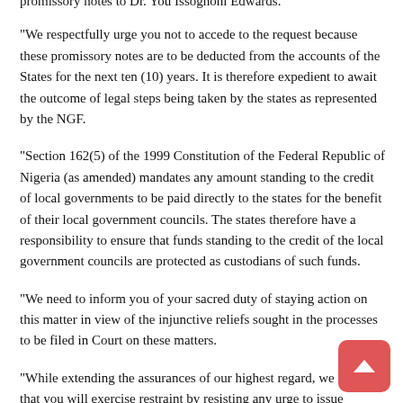promissory notes to Dr. You Issoghoni Edwards.
“We respectfully urge you not to accede to the request because these promissory notes are to be deducted from the accounts of the States for the next ten (10) years. It is therefore expedient to await the outcome of legal steps being taken by the states as represented by the NGF.
“Section 162(5) of the 1999 Constitution of the Federal Republic of Nigeria (as amended) mandates any amount standing to the credit of local governments to be paid directly to the states for the benefit of their local government councils. The states therefore have a responsibility to ensure that funds standing to the credit of the local government councils are protected as custodians of such funds.
“We need to inform you of your sacred duty of staying action on this matter in view of the injunctive reliefs sought in the processes to be filed in Court on these matters.
“While extending the assurances of our highest regard, we hope that you will exercise restraint by resisting any urge to issue promissory notes to any individual Edwards. Mr. Mr. Mr...